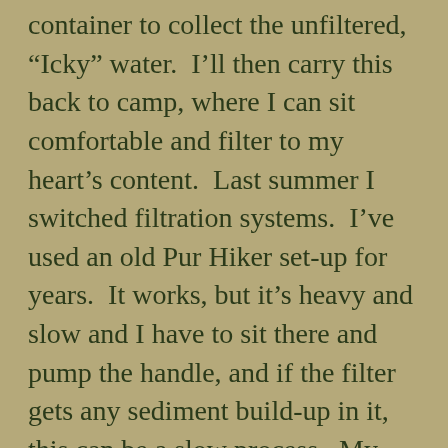container to collect the unfiltered, “Icky” water. I’ll then carry this back to camp, where I can sit comfortable and filter to my heart’s content. Last summer I switched filtration systems. I’ve used an old Pur Hiker set-up for years. It works, but it’s heavy and slow and I have to sit there and pump the handle, and if the filter gets any sediment build-up in it, this can be a slow process. My new, Katadyn Gravity Camp system requires no pumping, weighs about 10 oz (they say 12, but I get only 10 on the scale) and filters water fast! Fill it, hang it, open the hose clamp (it works like a giant IV bottle) and in a few minutes, you have 6 liters of clean water. The cartridges are back-flushable and compact. I rigged up a